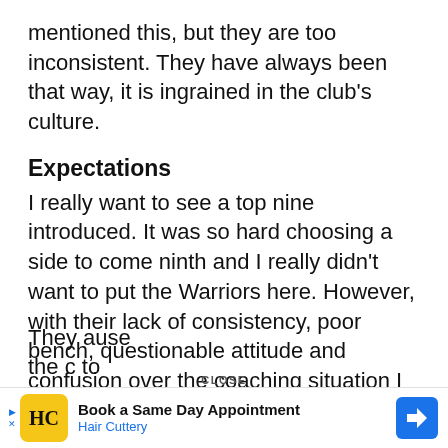mentioned this, but they are too inconsistent. They have always been that way, it is ingrained in the club's culture.
Expectations
I really want to see a top nine introduced. It was so hard choosing a side to come ninth and I really didn't want to put the Warriors here. However, with their lack of consistency, poor bench, questionable attitude and confusion over the coaching situation I cannot put them into the eight, despite how stacked their side is.
CLOSE
[Figure (other): Advertisement banner for Hair Cuttery: 'Book a Same Day Appointment' with yellow HC logo and blue navigation arrow icon. Partially overlaps text below.]
They [partially obscured] ause the c[partially obscured] to